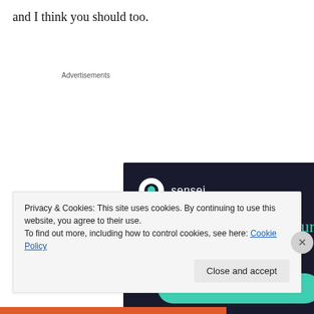and I think you should too.
Advertisements
[Figure (illustration): Sensei advertisement with dark background. Shows Sensei logo (white circle with tree icon) and text 'Launch your online course with WordPress' in teal, with a teal 'Learn More' button.]
Privacy & Cookies: This site uses cookies. By continuing to use this website, you agree to their use.
To find out more, including how to control cookies, see here: Cookie Policy